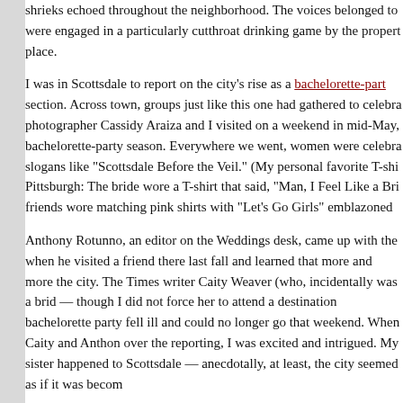shrieks echoed throughout the neighborhood. The voices belonged to were engaged in a particularly cutthroat drinking game by the propert place.
I was in Scottsdale to report on the city's rise as a bachelorette-party section. Across town, groups just like this one had gathered to celebra photographer Cassidy Araiza and I visited on a weekend in mid-May, bachelorette-party season. Everywhere we went, women were celebra slogans like “Scottsdale Before the Veil.” (My personal favorite T-shi Pittsburgh: The bride wore a T-shirt that said, “Man, I Feel Like a Bri friends wore matching pink shirts with “Let’s Go Girls” emblazoned
Anthony Rotunno, an editor on the Weddings desk, came up with the when he visited a friend there last fall and learned that more and more the city. The Times writer Caity Weaver (who, incidentally was a brid — though I did not force her to attend a destination bachelorette party fell ill and could no longer go that weekend. When Caity and Anthon over the reporting, I was excited and intrigued. My sister happened to Scottsdale — anecdotally, at least, the city seemed as if it was becom
To get started, Caity put me in touch with a few bachelorette-party pla Casey Hohman, who owns Scottsdale Bachelorette, and Meghan Alfo The planners connected me with parties they had booked, groups that being photographed and then declined to be photographed and